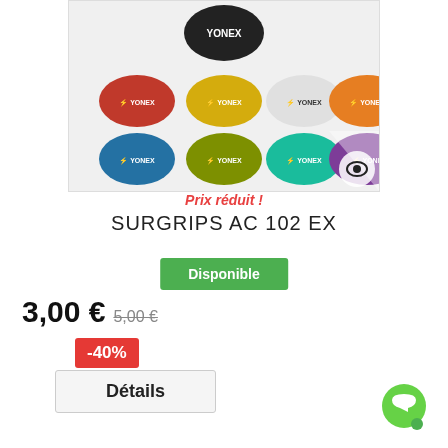[Figure (photo): Yonex AC 102 EX surgrips shown in multiple colors: black, red, yellow, white, orange, blue, green, teal, purple — cylindrical grip tape rolls with Yonex branding]
Prix réduit !
SURGRIPS AC 102 EX
Disponible
3,00 € 5,00 €
-40%
Détails